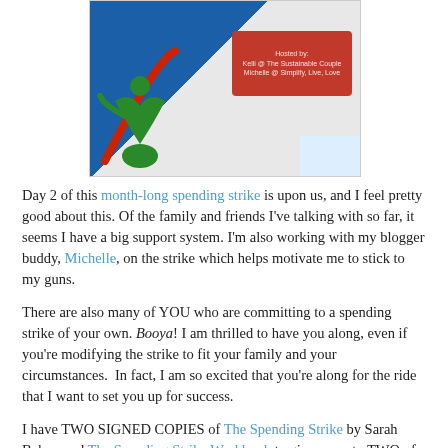[Figure (illustration): Blog graphic showing a figure with blue background and red banner reading 'Hosted by: Kelli @ The Sustainable Couple, Michelle @ Simplify, Live, Love']
Day 2 of this month-long spending strike is upon us, and I feel pretty good about this. Of the family and friends I've talking with so far, it seems I have a big support system. I'm also working with my blogger buddy, Michelle, on the strike which helps motivate me to stick to my guns.
There are also many of YOU who are committing to a spending strike of your own. Booya! I am thrilled to have you along, even if you're modifying the strike to fit your family and your circumstances.  In fact, I am so excited that you're along for the ride that I want to set you up for success.
I have TWO SIGNED COPIES of The Spending Strike by Sarah Baker, and The Spending Strike Workbook to give away to TWO of you lucky readers.